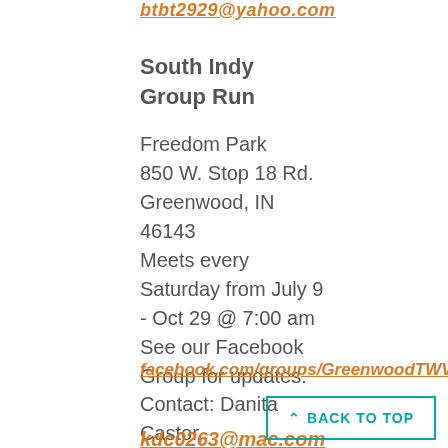btbt2929@yahoo.com
South Indy Group Run
Freedom Park
850 W. Stop 18 Rd.
Greenwood, IN
46143
Meets every Saturday from July 9 - Oct 29 @ 7:00 am
See our Facebook Group for updates:
facebook.com/groups/GreenwoodTWV
Contact: Danita Castor,
kdc0263@mac.com